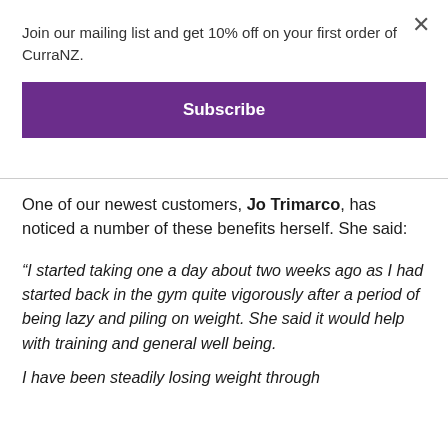Join our mailing list and get 10% off on your first order of CurraNZ.
Subscribe
One of our newest customers, Jo Trimarco, has noticed a number of these benefits herself. She said:
“I started taking one a day about two weeks ago as I had started back in the gym quite vigorously after a period of being lazy and piling on weight. She said it would help with training and general well being.
I have been steadily losing weight through